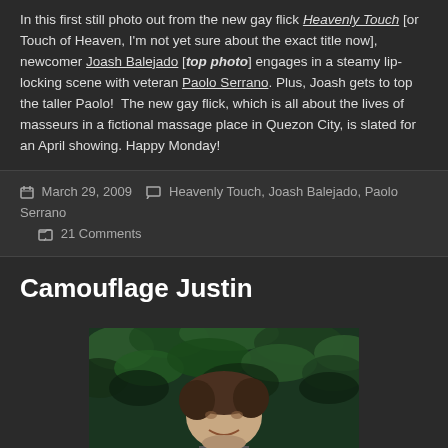In this first still photo out from the new gay flick Heavenly Touch [or Touch of Heaven, I'm not yet sure about the exact title now], newcomer Joash Balejado [top photo] engages in a steamy lip-locking scene with veteran Paolo Serrano. Plus, Joash gets to top the taller Paolo!  The new gay flick, which is all about the lives of masseurs in a fictional massage place in Quezon City, is slated for an April showing. Happy Monday!
March 29, 2009  Heavenly Touch, Joash Balejado, Paolo Serrano  21 Comments
Camouflage Justin
[Figure (photo): Photo of a young man with short dark hair smiling, with green leafy background]